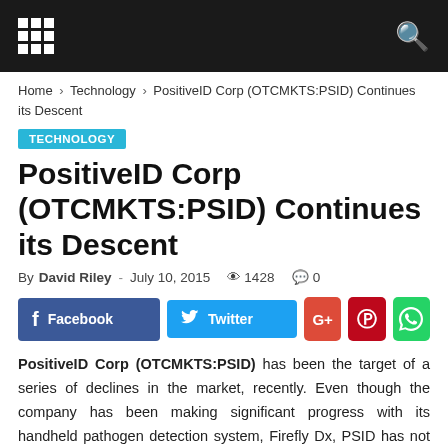[site header with grid menu icon and search icon]
Home › Technology › PositiveID Corp (OTCMKTS:PSID) Continues its Descent
TECHNOLOGY
PositiveID Corp (OTCMKTS:PSID) Continues its Descent
By David Riley - July 10, 2015   👁 1428   💬 0
[Figure (other): Social sharing buttons: Facebook, Twitter, G+, Pinterest, WhatsApp]
PositiveID Corp (OTCMKTS:PSID) has been the target of a series of declines in the market, recently. Even though the company has been making significant progress with its handheld pathogen detection system, Firefly Dx, PSID has not been able to attract significant investor interest in recent weeks. The main reason for the